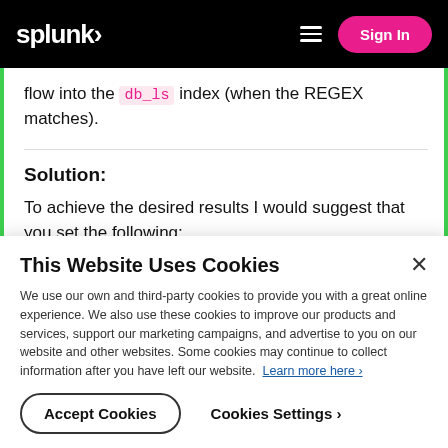splunk> [hamburger menu] Sign In
flow into the db_ls index (when the REGEX matches).
Solution:
To achieve the desired results I would suggest that you set the following;
This Website Uses Cookies
We use our own and third-party cookies to provide you with a great online experience. We also use these cookies to improve our products and services, support our marketing campaigns, and advertise to you on our website and other websites. Some cookies may continue to collect information after you have left our website. Learn more here ›
Accept Cookies   Cookies Settings ›